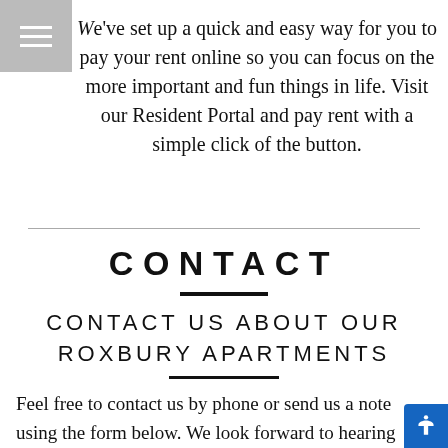We've set up a quick and easy way for you to pay your rent online so you can focus on the more important and fun things in life. Visit our Resident Portal and pay rent with a simple click of the button.
CONTACT
CONTACT US ABOUT OUR ROXBURY APARTMENTS
Feel free to contact us by phone or send us a note using the form below. We look forward to hearing